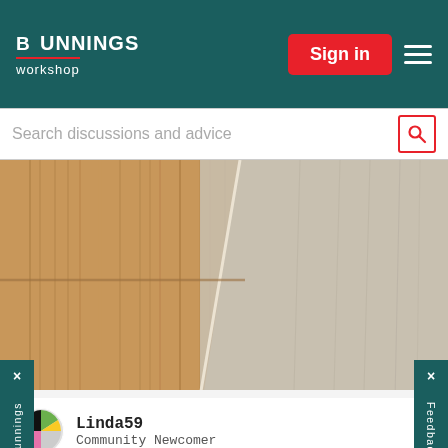BUNNINGS workshop
Sign in
Search discussions and advice
[Figure (photo): Close-up photo of two types of flooring side by side: wooden plank flooring on the left and light grey vinyl/laminate flooring on the right]
Go to Bunnings
Feedback
Linda59
Community Newcomer
How to replace vinyl tiles?
Living and Bedroom
1 reply   9 hours ago